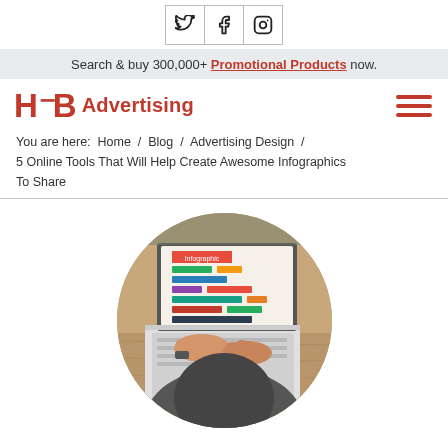Social icons: Twitter, Facebook, Instagram
Search & buy 300,000+ Promotional Products now.
[Figure (logo): HFB Advertising logo in red with hamburger menu icon]
You are here:  Home  /  Blog  /  Advertising Design  /  5 Online Tools That Will Help Create Awesome Infographics To Share
[Figure (photo): Circular cropped photo of a person using a laptop at a wooden table, with an infographic visible on screen]